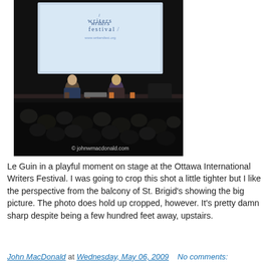[Figure (photo): A photograph taken from a balcony showing two people seated on stage at the Ottawa International Writers Festival. A large projection screen displays 'writers festival' and 'www.writersfest.org' text. The audience is visible in the foreground. A watermark reads '© johnwmacdonald.com'.]
Le Guin in a playful moment on stage at the Ottawa International Writers Festival. I was going to crop this shot a little tighter but I like the perspective from the balcony of St. Brigid's showing the big picture. The photo does hold up cropped, however. It's pretty damn sharp despite being a few hundred feet away, upstairs.
John MacDonald at Wednesday, May 06, 2009   No comments: